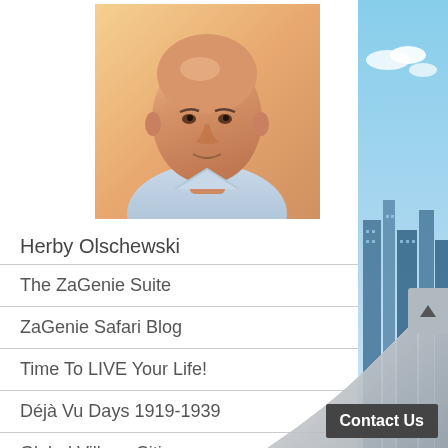[Figure (photo): Headshot of Herby Olschewski, a middle-aged bald man wearing a light blue shirt, photographed indoors with warm lighting]
Herby Olschewski
The ZaGenie Suite
ZaGenie Safari Blog
Time To LIVE Your Life!
Déjà Vu Days 1919-1939
Global Village Citizens
Contact Us